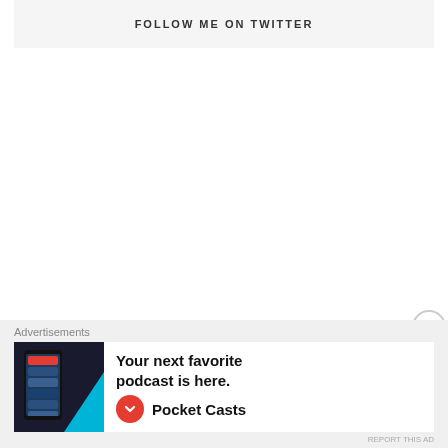FOLLOW ME ON TWITTER
[Figure (screenshot): Advertisement banner for Pocket Casts podcast app showing app screenshot and text 'Your next favorite podcast is here.' with Pocket Casts logo]
Advertisements
REPORT THIS AD